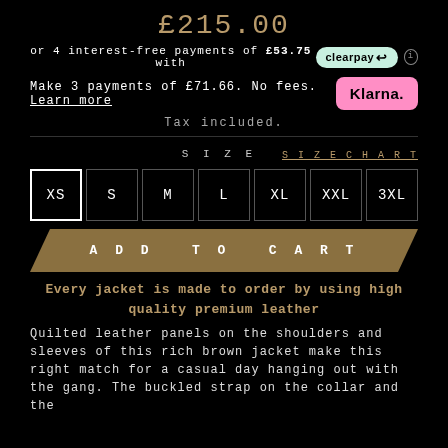£215.00
or 4 interest-free payments of £53.75 with clearpay
Make 3 payments of £71.66. No fees. Learn more  [Klarna.]
Tax included.
SIZE   SIZECHART
XS  S  M  L  XL  XXL  3XL
ADD TO CART
Every jacket is made to order by using high quality premium leather
Quilted leather panels on the shoulders and sleeves of this rich brown jacket make this right match for a casual day hanging out with the gang. The buckled strap on the collar and the